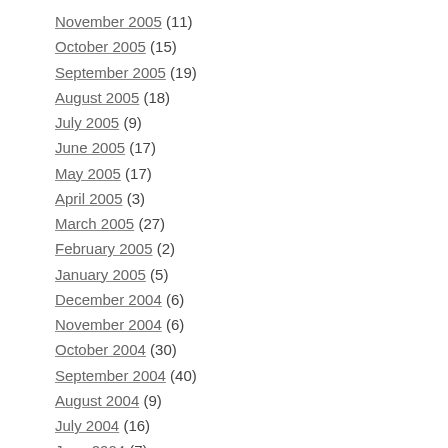November 2005 (11)
October 2005 (15)
September 2005 (19)
August 2005 (18)
July 2005 (9)
June 2005 (17)
May 2005 (17)
April 2005 (3)
March 2005 (27)
February 2005 (2)
January 2005 (5)
December 2004 (6)
November 2004 (6)
October 2004 (30)
September 2004 (40)
August 2004 (9)
July 2004 (16)
June 2004 (7)
May 2004 (6)